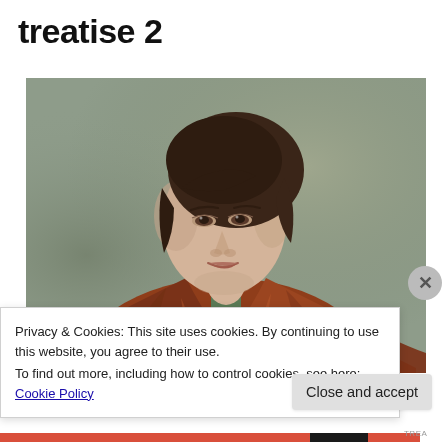treatise 2
[Figure (photo): Classical oil portrait painting of a woman with dark hair pinned up, wearing a rust/brown draped coat or garment, looking slightly to the left, against a muted gray-green background.]
Privacy & Cookies: This site uses cookies. By continuing to use this website, you agree to their use.
To find out more, including how to control cookies, see here: Cookie Policy
Close and accept